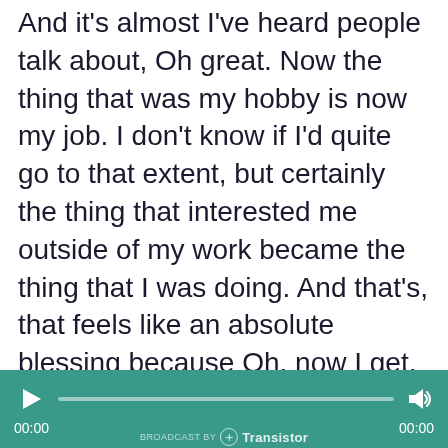And it's almost I've heard people talk about, Oh great. Now the thing that was my hobby is now my job. I don't know if I'd quite go to that extent, but certainly the thing that interested me outside of my work became the thing that I was doing. And that's, that feels like an absolute blessing because Oh, now I get.
Pay to do the thing that is my hobby, but the flip side to that is that, now your hobby is your job. And it is sometimes really hard to understand where the line is between the two. And I definitely have
[Figure (other): Audio player bar with teal/green background. Shows play button on left, progress bar in middle, volume icon on right. Time labels show 00:00 on both left and right. Transistor podcast player branding at bottom center.]